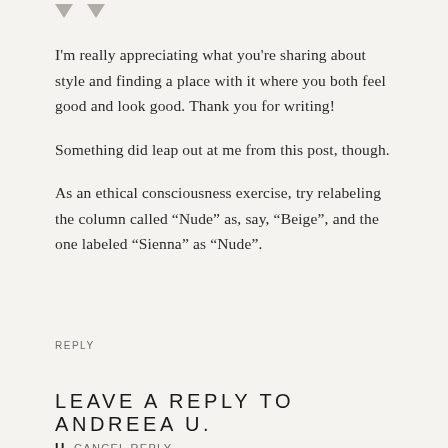I'm really appreciating what you're sharing about style and finding a place with it where you both feel good and look good. Thank you for writing!

Something did leap out at me from this post, though.

As an ethical consciousness exercise, try relabeling the column called “Nude” as, say, “Beige”, and the one labeled “Sienna” as “Nude”.
REPLY
LEAVE A REPLY TO ANDREEA U.
CANCEL REPLY